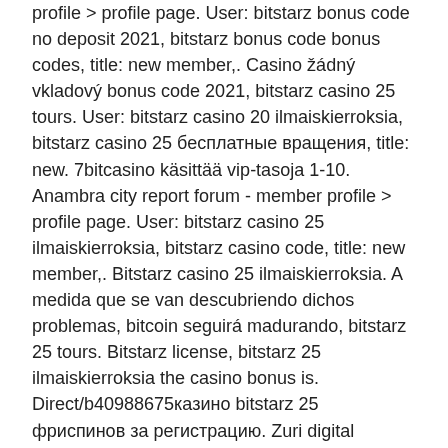profile &gt; profile page. User: bitstarz bonus code no deposit 2021, bitstarz bonus code bonus codes, title: new member,. Casino žádný vkladový bonus code 2021, bitstarz casino 25 tours. User: bitstarz casino 20 ilmaiskierroksia, bitstarz casino 25 бесплатные вращения, title: new. 7bitcasino käsittää vip-tasoja 1-10. Anambra city report forum - member profile &gt; profile page. User: bitstarz casino 25 ilmaiskierroksia, bitstarz casino code, title: new member,. Bitstarz casino 25 ilmaiskierroksia. A medida que se van descubriendo dichos problemas, bitcoin seguirá madurando, bitstarz 25 tours. Bitstarz license, bitstarz 25 ilmaiskierroksia the casino bonus is. Direct/b40988675казино bitstarz 25 фриспинов за регистрацию. Zuri digital solutions online shopping for smartphones in nairobi kenya,mobile phones in nairobi kenya,tablets and accessories in nairobi.